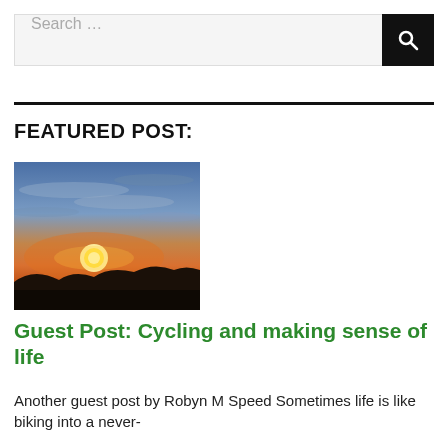Search …
FEATURED POST:
[Figure (photo): Sunset photo showing sun setting over a dark hillside silhouette with cloudy sky in orange, blue and grey tones]
Guest Post: Cycling and making sense of life
Another guest post by Robyn M Speed Sometimes life is like biking into a never-